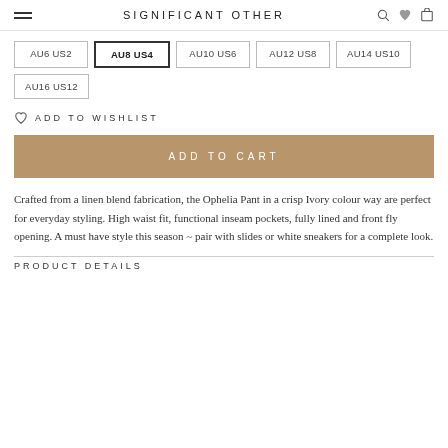SIGNIFICANT OTHER
AU6 US2
AU8 US4
AU10 US6
AU12 US8
AU14 US10
AU16 US12
ADD TO WISHLIST
ADD TO CART
Crafted from a linen blend fabrication, the Ophelia Pant in a crisp Ivory colour way are perfect for everyday styling. High waist fit, functional inseam pockets, fully lined and front fly opening. A must have style this season ~ pair with slides or white sneakers for a complete look.
PRODUCT DETAILS